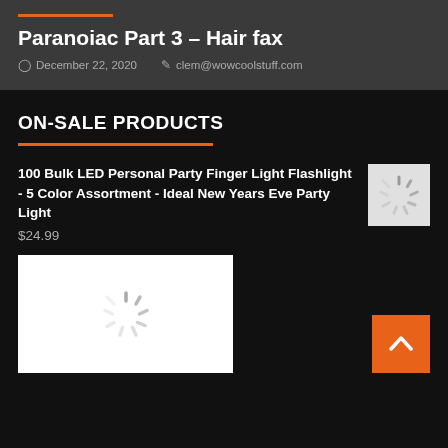Paranoiac Part 3 – Hair fax
December 22, 2020   clem@wowcoolstuff.com
ON-SALE PRODUCTS
100 Bulk LED Personal Party Finger Light Flashlight - 5 Color Assortment - Ideal New Years Eve Party Light
$24.99
[Figure (photo): Loading spinner icon (small, on grey background)]
[Figure (photo): Loading spinner icon (large, on white product card background)]
[Figure (illustration): Orange scroll-to-top button with white upward chevron arrow]